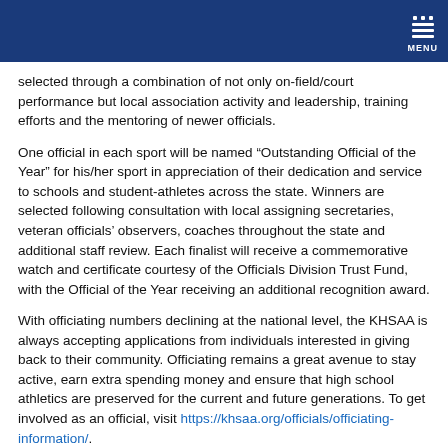MENU
selected through a combination of not only on-field/court performance but local association activity and leadership, training efforts and the mentoring of newer officials.
One official in each sport will be named “Outstanding Official of the Year” for his/her sport in appreciation of their dedication and service to schools and student-athletes across the state. Winners are selected following consultation with local assigning secretaries, veteran officials’ observers, coaches throughout the state and additional staff review. Each finalist will receive a commemorative watch and certificate courtesy of the Officials Division Trust Fund, with the Official of the Year receiving an additional recognition award.
With officiating numbers declining at the national level, the KHSAA is always accepting applications from individuals interested in giving back to their community. Officiating remains a great avenue to stay active, earn extra spending money and ensure that high school athletics are preserved for the current and future generations. To get involved as an official, visit https://khsaa.org/officials/officiating-information/.
2019-20 KHSAA Outstanding Officials (winners in bold)
FIELD HOCKEY – Megan McGrath (Louisville), Jamie Gatewood (Louisville)